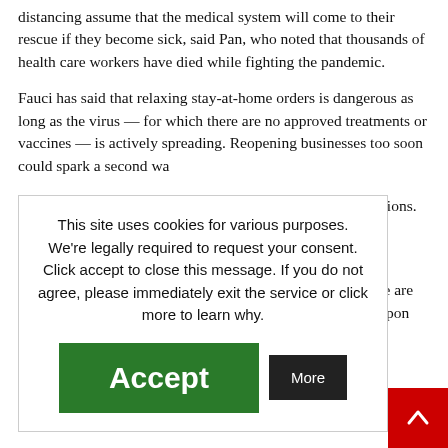distancing assume that the medical system will come to their rescue if they become sick, said Pan, who noted that thousands of health care workers have died while fighting the pandemic.
Fauci has said that relaxing stay-at-home orders is dangerous as long as the virus — for which there are no approved treatments or vaccines — is actively spreading. Reopening businesses too soon could spark a second wave of infections.
This site uses cookies for various purposes. We're legally required to request your consent. Click accept to close this message. If you do not agree, please immediately exit the service or click more to learn why.
worldwide are a key weapon
ancing measures ge gatherings — virus and tals. Health ty until died down.
[Figure (other): Cookie consent overlay with Accept (green) and More (black) buttons, and a red scroll-to-top arrow button in the bottom-right corner]